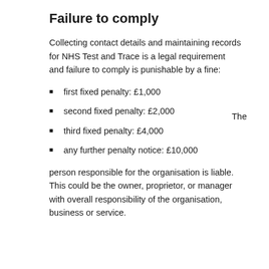Failure to comply
Collecting contact details and maintaining records for NHS Test and Trace is a legal requirement and failure to comply is punishable by a fine:
first fixed penalty: £1,000
second fixed penalty: £2,000
third fixed penalty: £4,000
any further penalty notice: £10,000
The person responsible for the organisation is liable. This could be the owner, proprietor, or manager with overall responsibility of the organisation, business or service.